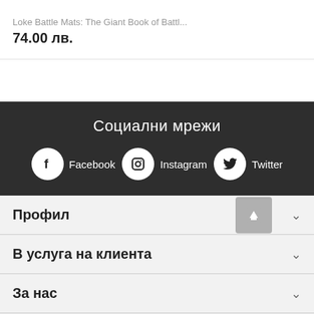Loke Battle Mats: The Giant Book of Battl...
74.00 лв.
Социални мрежи
Facebook
Instagram
Twitter
Профил
В услуга на клиента
За нас